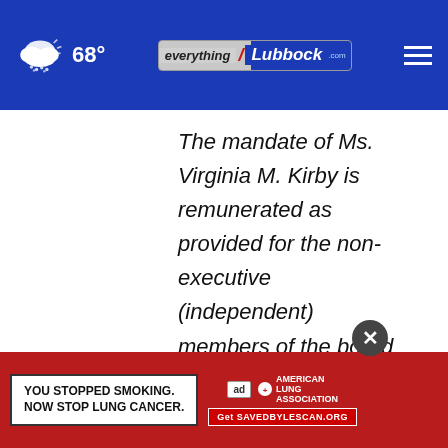68° everything/Lubbock.com
The mandate of Ms. Virginia M. Kirby is remunerated as provided for the non-executive (independent) members of the board of directors in the Company's remuneration policy as adopted by the shareholders' meeting and as provided in
[Figure (screenshot): Advertisement banner: red background with white text box reading 'YOU STOPPED SMOKING. NOW STOP LUNG CANCER.' with American Lung Association logo and 'Get SAVEDBYLESCAN.ORG' call to action button]